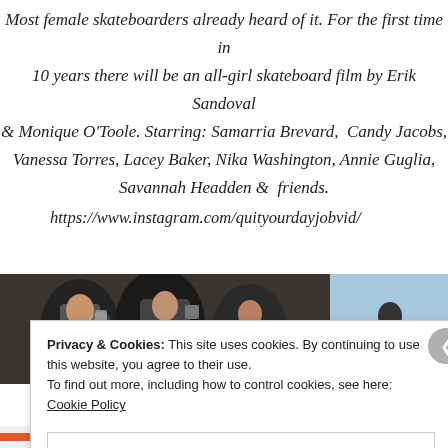Most female skateboarders already heard of it. For the first time in 10 years there will be an all-girl skateboard film by Erik Sandoval & Monique O'Toole. Starring: Samarria Brevard, Candy Jacobs, Vanessa Torres, Lacey Baker, Nika Washington, Annie Guglia, Savannah Headden & friends.
https://www.instagram.com/quityourdayjobvid/
[Figure (photo): Two photos side by side: left shows people holding cameras at an event, right shows a skateboarding scene with blue tones]
Privacy & Cookies: This site uses cookies. By continuing to use this website, you agree to their use. To find out more, including how to control cookies, see here: Cookie Policy
Close and accept